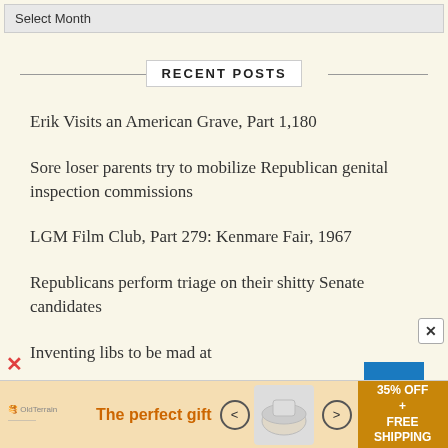Select Month
RECENT POSTS
Erik Visits an American Grave, Part 1,180
Sore loser parents try to mobilize Republican genital inspection commissions
LGM Film Club, Part 279: Kenmare Fair, 1967
Republicans perform triage on their shitty Senate candidates
Inventing libs to be mad at
People really hate Dobbs
[Figure (screenshot): Advertisement banner: The perfect gift, 35% OFF + FREE SHIPPING, with product images and navigation arrows]